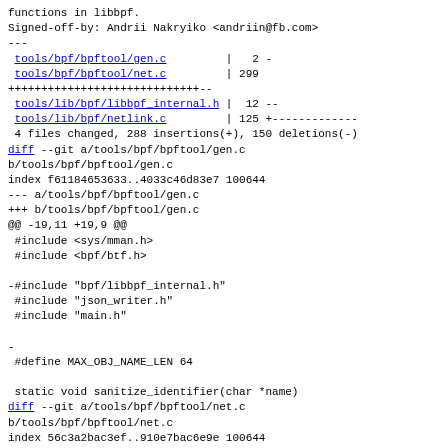functions in libbpf.
Signed-off-by: Andrii Nakryiko <andriin@fb.com>
---
 tools/bpf/bpftool/gen.c         |   2 -
 tools/bpf/bpftool/net.c         | 299
++++++++++++++++++++++++++++-
 tools/lib/bpf/libbpf_internal.h |  12 --
 tools/lib/bpf/netlink.c         | 125 +-------------
 4 files changed, 288 insertions(+), 150 deletions(-)
diff --git a/tools/bpf/bpftool/gen.c b/tools/bpf/bpftool/gen.c
index f61184653633..4033c46d83e7 100644
--- a/tools/bpf/bpftool/gen.c
+++ b/tools/bpf/bpftool/gen.c
@@ -19,11 +19,9 @@
 #include <sys/mman.h>
 #include <bpf/btf.h>

-#include "bpf/libbpf_internal.h"
 #include "json_writer.h"
 #include "main.h"

-
 #define MAX_OBJ_NAME_LEN 64

 static void sanitize_identifier(char *name)
diff --git a/tools/bpf/bpftool/net.c b/tools/bpf/bpftool/net.c
index 56c3a2bac3ef..910e7bac6e9e 100644